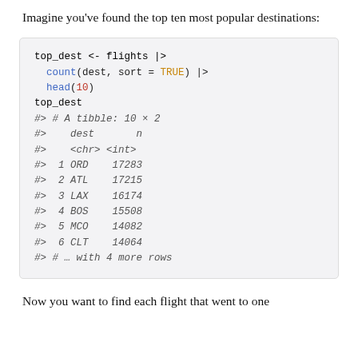Imagine you've found the top ten most popular destinations:
top_dest <- flights |>
  count(dest, sort = TRUE) |>
  head(10)
top_dest
#> # A tibble: 10 × 2
#>    dest      n
#>    <chr> <int>
#>  1 ORD   17283
#>  2 ATL   17215
#>  3 LAX   16174
#>  4 BOS   15508
#>  5 MCO   14082
#>  6 CLT   14064
#> # … with 4 more rows
Now you want to find each flight that went to one